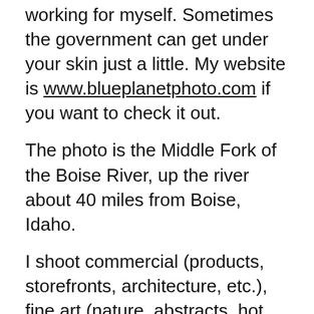working for myself. Sometimes the government can get under your skin just a little. My website is www.blueplanetphoto.com if you want to check it out.
The photo is the Middle Fork of the Boise River, up the river about 40 miles from Boise, Idaho.
I shoot commercial (products, storefronts, architecture, etc.), fine art (nature, abstracts, hot rods, figure studies, anything that attracts my eye), conduct classes and workshops and plan the occasional trip (working on my 2006 schedule now). I also have a line of photo-imaged products that I make here in the studio (stone